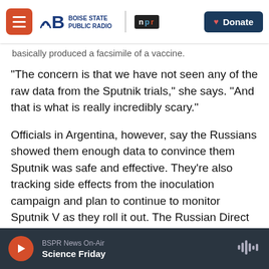Boise State Public Radio | NPR — Donate
basically produced a facsimile of a vaccine.
"The concern is that we have not seen any of the raw data from the Sputnik trials," she says. "And that is what is really incredibly scary."
Officials in Argentina, however, say the Russians showed them enough data to convince them Sputnik was safe and effective. They're also tracking side effects from the inoculation campaign and plan to continue to monitor Sputnik V as they roll it out. The Russian Direct Investment Fund, which is marketing Sputnik abroad now, says it plans to publicly present detailed data on the
BSPR News On-Air — Science Friday